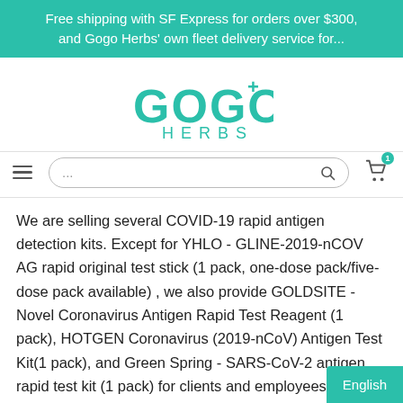Free shipping with SF Express for orders over $300, and Gogo Herbs' own fleet delivery service for...
[Figure (logo): GOGO+ HERBS logo in teal/green color]
[Figure (screenshot): Navigation bar with hamburger menu, search box with placeholder '...', search icon, and cart icon with badge '1']
We are selling several COVID-19 rapid antigen detection kits. Except for YHLO - GLINE-2019-nCOV AG rapid original test stick (1 pack, one-dose pack/five-dose pack available) , we also provide GOLDSITE - Novel Coronavirus Antigen Rapid Test Reagent (1 pack), HOTGEN Coronavirus (2019-nCoV) Antigen Test Kit(1 pack), and Green Spring - SARS-CoV-2 antigen rapid test kit (1 pack) for clients and employees to have CO
English